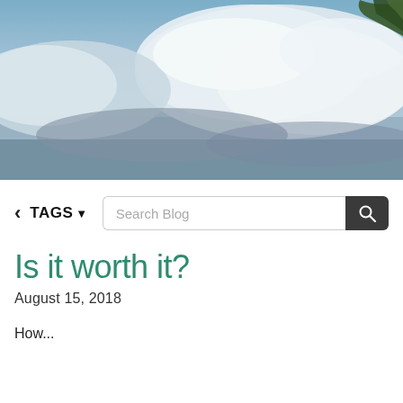[Figure (photo): Hero image of sky with clouds, blue sky visible through white and grey clouds, green tree foliage visible in top right corner, possibly a reflection in water]
< TAGS ▾  [Search Blog input]  [Search button]
Is it worth it?
August 15, 2018
How...